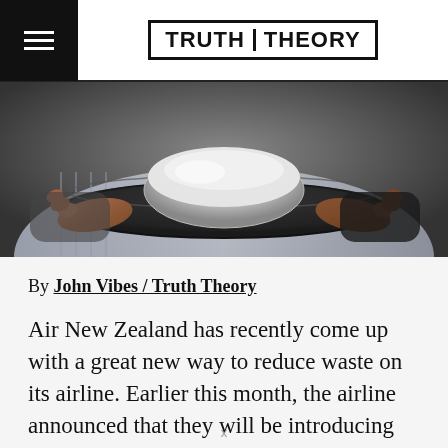TRUTH THEORY
[Figure (photo): Hands holding a dark tray with a white bowl on it, shot from behind the person, close-up]
By John Vibes / Truth Theory
Air New Zealand has recently come up with a great new way to reduce waste on its airline. Earlier this month, the airline announced that they will be introducing